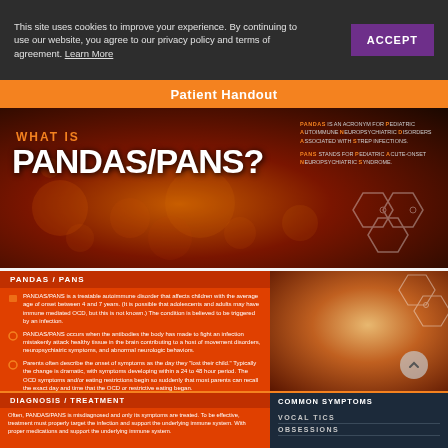This site uses cookies to improve your experience. By continuing to use our website, you agree to our privacy policy and terms of agreement. Learn More
Patient Handout
WHAT IS PANDAS/PANS?
PANDAS IS AN ACRONYM FOR PEDIATRIC AUTOIMMUNE NEUROPSYCHIATRIC DISORDERS ASSOCIATED WITH STREP INFECTIONS. PANS STANDS FOR PEDIATRIC ACUTE-ONSET NEUROPSYCHIATRIC SYNDROME.
PANDAS / PANS
PANDAS/PANS is a treatable autoimmune disorder that affects children with the average age of onset between 4 and 7 years. (It is possible that adolescents and adults may have immune mediated OCD, but this is not known.) The condition is believed to be triggered by an infection.
PANDAS/PANS occurs when the antibodies the body has made to fight an infection mistakenly attack healthy tissue in the brain contributing to a host of movement disorders, neuropsychiatric symptoms, and abnormal neurologic behaviors.
Parents often describe the onset of symptoms as the day they "lost their child." Typically the change is dramatic, with symptoms developing within a 24 to 48 hour period. The OCD symptoms and/or eating restrictions begin so suddenly that most parents can recall the exact day and time that the OCD or restrictive eating began.
DIAGNOSIS / TREATMENT
Often, PANDAS/PANS is misdiagnosed and only its symptoms are treated. To be effective, treatment must properly target the infection and support the underlying immune system. With proper medications and support the underlying immune system.
COMMON SYMPTOMS
VOCAL TICS
OBSESSIONS